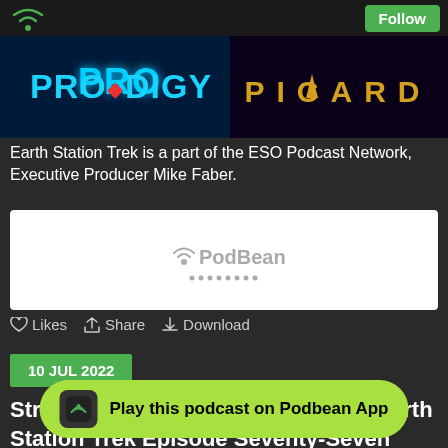Follow
[Figure (illustration): Banner image showing Prodigy and Picard Star Trek logos on a dark blue background]
Earth Station Trek is a part of the ESO Podcast Network, Executive Producer Mike Faber.
[Figure (other): PodBean podcast player widget with logo and loading dots]
Likes  Share  Download
10 JUL 2022
Strange New Worlds Season One - Earth Station Trek Episode Seventy-Seven
This week th...nce "A Quality of ...nge New Worlds before looking back and evaluating the franchise
Play this podcast on Podbean App